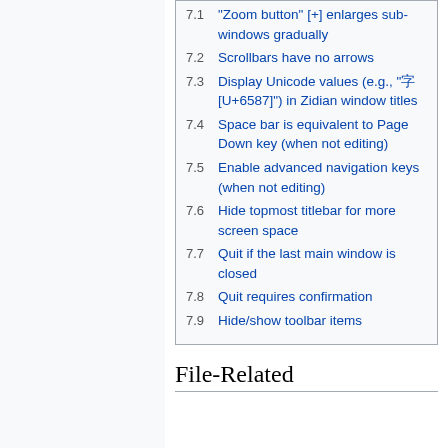7.1 "Zoom button" [+] enlarges sub-windows gradually
7.2 Scrollbars have no arrows
7.3 Display Unicode values (e.g., "字[U+6587]") in Zidian window titles
7.4 Space bar is equivalent to Page Down key (when not editing)
7.5 Enable advanced navigation keys (when not editing)
7.6 Hide topmost titlebar for more screen space
7.7 Quit if the last main window is closed
7.8 Quit requires confirmation
7.9 Hide/show toolbar items
File-Related